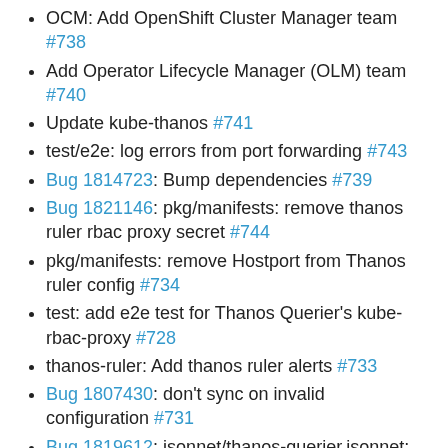OCM: Add OpenShift Cluster Manager team #738
Add Operator Lifecycle Manager (OLM) team #740
Update kube-thanos #741
test/e2e: log errors from port forwarding #743
Bug 1814723: Bump dependencies #739
Bug 1821146: pkg/manifests: remove thanos ruler rbac proxy secret #744
pkg/manifests: remove Hostport from Thanos ruler config #734
test: add e2e test for Thanos Querier's kube-rbac-proxy #728
thanos-ruler: Add thanos ruler alerts #733
Bug 1807430: don't sync on invalid configuration #731
Bug 1819612: jsonnet/thanos-querier.jsonnet: Configure thanos querier replica-label #729
test/e2e/framework: remove unused code #732
Bug 1819565: pkg/manifests: set correct server name for UWM prom-op service monitor #730